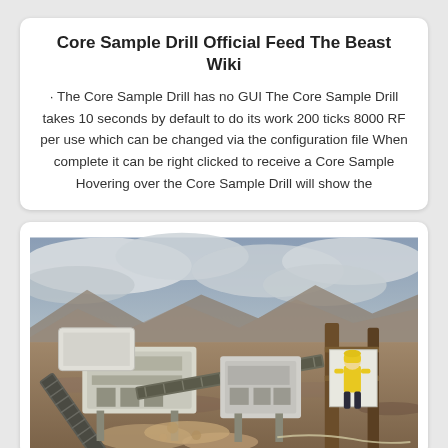Core Sample Drill Official Feed The Beast Wiki
· The Core Sample Drill has no GUI The Core Sample Drill takes 10 seconds by default to do its work 200 ticks 8000 RF per use which can be changed via the configuration file When complete it can be right clicked to receive a Core Sample Hovering over the Core Sample Drill will show the
[Figure (photo): Mining or drilling site with industrial equipment including conveyors and a crusher machine on rocky terrain under cloudy skies, with a worker in yellow safety gear visible on the right side]